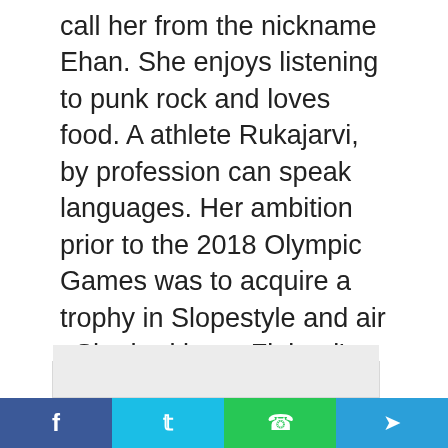call her from the nickname Ehan. She enjoys listening to punk rock and loves food. A athlete Rukajarvi, by profession can speak languages. Her ambition prior to the 2018 Olympic Games was to acquire a trophy in Slopestyle and air . She had been Finland's flag bearer in the opening ceremony of the Olympic Winter Games at Sochi.
[Figure (other): A quote block with a large red double quotation mark in the upper left corner, and a light gray content area below.]
Social share buttons: Facebook, Twitter, WhatsApp, Telegram